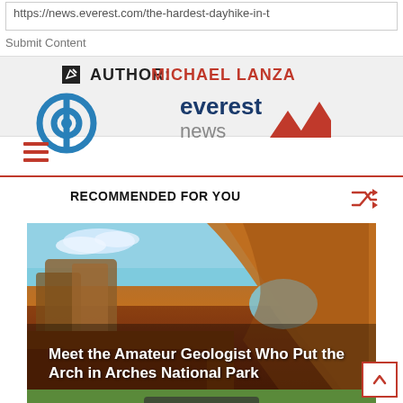https://news.everest.com/the-hardest-dayhike-in-t
Submit Content
AUTHOR: MICHAEL LANZA
[Figure (logo): Everest news logo with blue text and red mountain triangles]
[Figure (illustration): Hamburger menu icon (three horizontal red lines)]
RECOMMENDED FOR YOU
[Figure (photo): Photo of a red rock arch in a national park with blue sky, with text overlay: Meet the Amateur Geologist Who Put the Arch in Arches National Park]
Meet the Amateur Geologist Who Put the Arch in Arches National Park